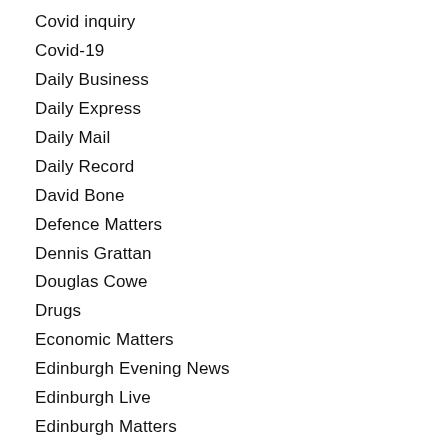Covid inquiry
Covid-19
Daily Business
Daily Express
Daily Mail
Daily Record
David Bone
Defence Matters
Dennis Grattan
Douglas Cowe
Drugs
Economic Matters
Edinburgh Evening News
Edinburgh Live
Edinburgh Matters
Education Matters
Election 2021